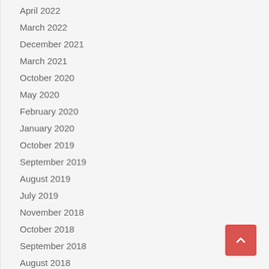April 2022
March 2022
December 2021
March 2021
October 2020
May 2020
February 2020
January 2020
October 2019
September 2019
August 2019
July 2019
November 2018
October 2018
September 2018
August 2018
July 2018
June 2018